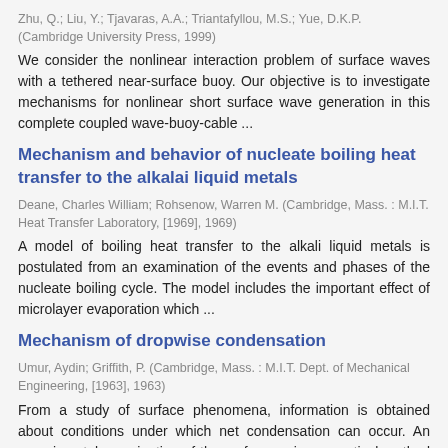Zhu, Q.; Liu, Y.; Tjavaras, A.A.; Triantafyllou, M.S.; Yue, D.K.P. (Cambridge University Press, 1999)
We consider the nonlinear interaction problem of surface waves with a tethered near-surface buoy. Our objective is to investigate mechanisms for nonlinear short surface wave generation in this complete coupled wave-buoy-cable ...
Mechanism and behavior of nucleate boiling heat transfer to the alkalai liquid metals
Deane, Charles William; Rohsenow, Warren M. (Cambridge, Mass. : M.I.T. Heat Transfer Laboratory, [1969], 1969)
A model of boiling heat transfer to the alkali liquid metals is postulated from an examination of the events and phases of the nucleate boiling cycle. The model includes the important effect of microlayer evaporation which ...
Mechanism of dropwise condensation
Umur, Aydin; Griffith, P. (Cambridge, Mass. : M.I.T. Dept. of Mechanical Engineering, [1963], 1963)
From a study of surface phenomena, information is obtained about conditions under which net condensation can occur. An experimental examination of the surface, using an optical method capable of detecting thin films of ...